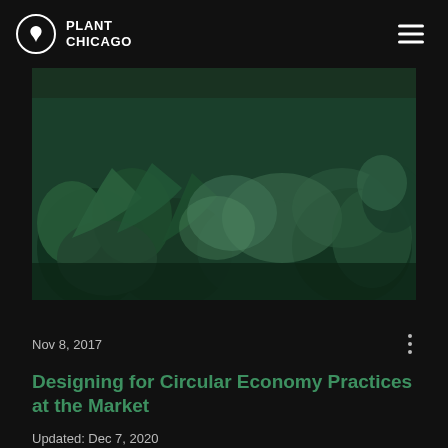PLANT CHICAGO
[Figure (photo): Green-tinted photo of leafy plants and crops growing in an indoor farm setting, viewed at close range under artificial lighting.]
Nov 8, 2017
Designing for Circular Economy Practices at the Market
Updated: Dec 7, 2020